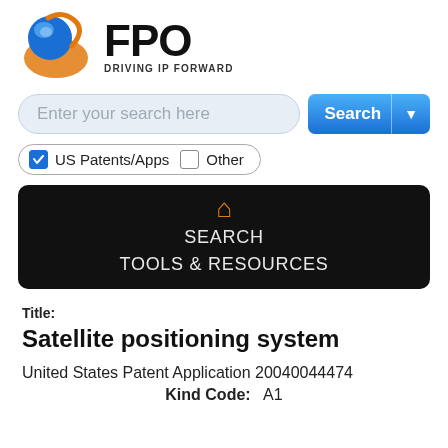[Figure (logo): FPO logo with blue/orange circular icon and text 'FPO DRIVING IP FORWARD']
[Figure (screenshot): Search bar with placeholder 'Enter your search here' and a blue Search button with dropdown arrow]
US Patents/Apps  Other
[Figure (screenshot): Black navigation bar with orange home icon, SEARCH link, and TOOLS & RESOURCES link]
Title:
Satellite positioning system
United States Patent Application 20040044474
Kind Code:  A1